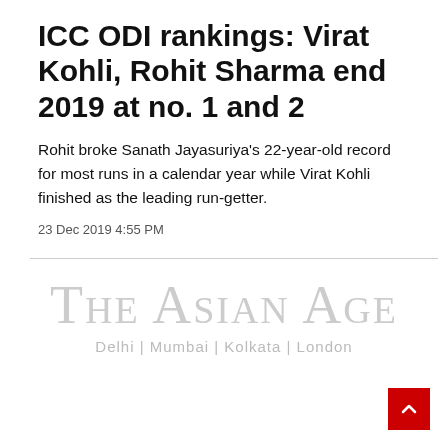ICC ODI rankings: Virat Kohli, Rohit Sharma end 2019 at no. 1 and 2
Rohit broke Sanath Jayasuriya's 22-year-old record for most runs in a calendar year while Virat Kohli finished as the leading run-getter.
23 Dec 2019 4:55 PM
[Figure (logo): The Asian Age newspaper logo with tagline: Delhi | Mumbai | Kolkata | London]